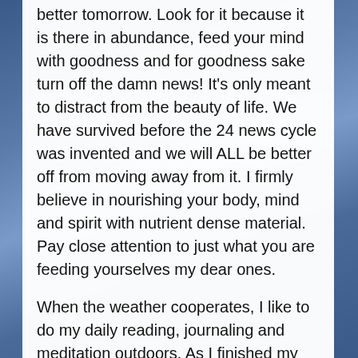better tomorrow. Look for it because it is there in abundance, feed your mind with goodness and for goodness sake turn off the damn news! It's only meant to distract from the beauty of life. We have survived before the 24 news cycle was invented and we will ALL be better off from moving away from it. I firmly believe in nourishing your body, mind and spirit with nutrient dense material. Pay close attention to just what you are feeding yourselves my dear ones.
When the weather cooperates, I like to do my daily reading, journaling and meditation outdoors. As I finished my meditation on Sunday (I had to look at the calendar to remember what day it is 😉) and opened my eyes, I caught a glimpse of the clouds above me, some call them iridescent but I call them